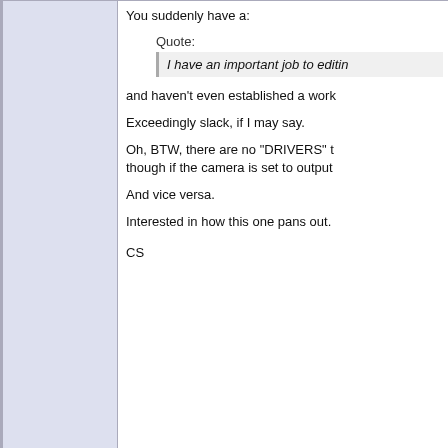You suddenly have a:
Quote:
I have an important job to editin
and haven't even established a work
Exceedingly slack, if I may say.
Oh, BTW, there are no "DRIVERS" though if the camera is set to output
And vice versa.
Interested in how this one pans out.
CS
March 29th, 2011, 06:55 AM
Re: Acquisition from Canon XHA1s
Gianni Paolella
Regular Crew
Join Date: Nov 2010
Location: MILAN ITALY
Thanks Chris,
The big problem is not how I set the system.Only the Canon, because if